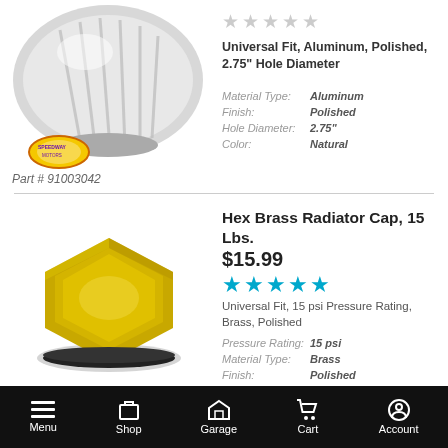[Figure (photo): Chrome polished aluminum radiator cap product photo]
[Figure (logo): Speedway Motors brand logo - yellow and purple circular logo]
Universal Fit, Aluminum, Polished, 2.75" Hole Diameter
| Attribute | Value |
| --- | --- |
| Material Type: | Aluminum |
| Finish: | Polished |
| Hole Diameter: | 2.75" |
| Color: | Natural |
Part # 91003042
Hex Brass Radiator Cap, 15 Lbs.
$15.99
[Figure (photo): Hex brass polished radiator cap product photo, octagonal shape, gold/brass finish]
Universal Fit, 15 psi Pressure Rating, Brass, Polished
| Attribute | Value |
| --- | --- |
| Pressure Rating: | 15 psi |
| Material Type: | Brass |
| Finish: | Polished |
Menu  Shop  Garage  Cart  Account